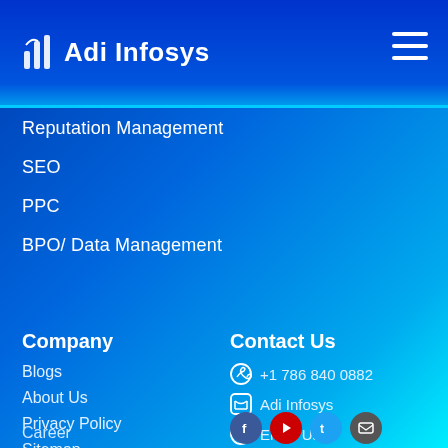Adi Infosys
Reputation Management
SEO
PPC
BPO/ Data Management
Company
Blogs
About Us
Privacy Policy
Sitemap
Career
Contact Us
+1 786 840 0882
Adi Infosys
Email Us